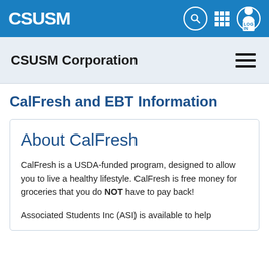[Figure (screenshot): CSUSM website navigation bar with blue background, CSUSM logo on left and search, grid, and login icons on right]
CSUSM Corporation
CalFresh and EBT Information
About CalFresh
CalFresh is a USDA-funded program, designed to allow you to live a healthy lifestyle. CalFresh is free money for groceries that you do NOT have to pay back!
Associated Students Inc (ASI) is available to help